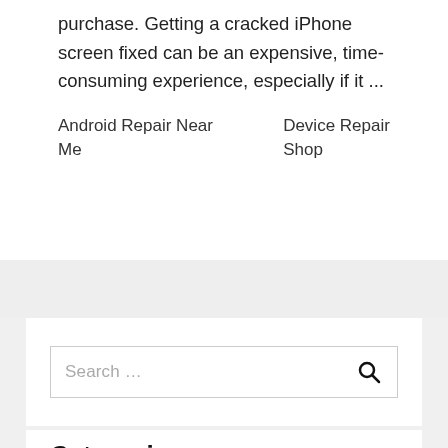purchase. Getting a cracked iPhone screen fixed can be an expensive, time-consuming experience, especially if it ...
Android Repair Near Me
Device Repair Shop
Search ...
Categories